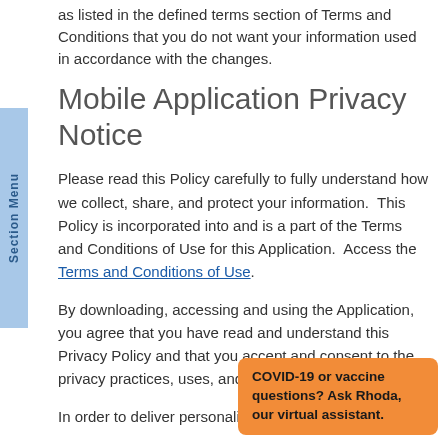as listed in the defined terms section of Terms and Conditions that you do not want your information used in accordance with the changes.
Mobile Application Privacy Notice
Please read this Policy carefully to fully understand how we collect, share, and protect your information.  This Policy is incorporated into and is a part of the Terms and Conditions of Use for this Application.  Access the Terms and Conditions of Use.
By downloading, accessing and using the Application, you agree that you have read and understand this Privacy Policy and that you accept and consent to the privacy practices, uses, and disclosures herein.
COVID-19 or vaccine questions? Ask Rhoda, our virtual assistant.
In order to deliver personalized and relevant